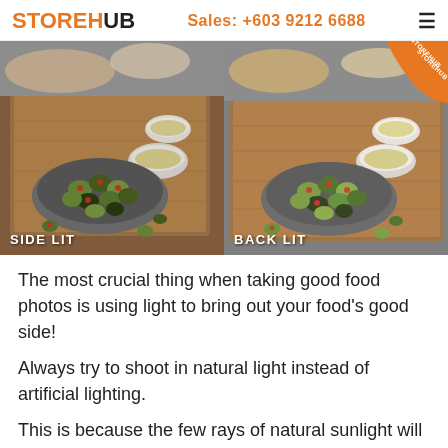STOREHUB  Sales: +603 9212 6688
[Figure (photo): Two side-by-side food photos of olives on a wooden board. Left image labeled SIDE LIT, right image labeled BACK LIT with a StoreHub orange badge in top-right corner.]
The most crucial thing when taking good food photos is using light to bring out your food's good side!
Always try to shoot in natural light instead of artificial lighting.
This is because the few rays of natural sunlight will highlight the brightness of your food instead of